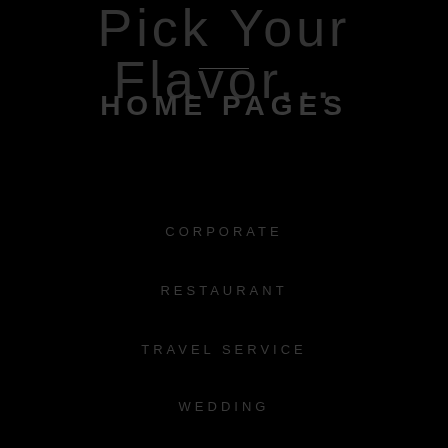Pick Your Flavor...
HOME PAGES
CORPORATE
RESTAURANT
TRAVEL SERVICE
WEDDING